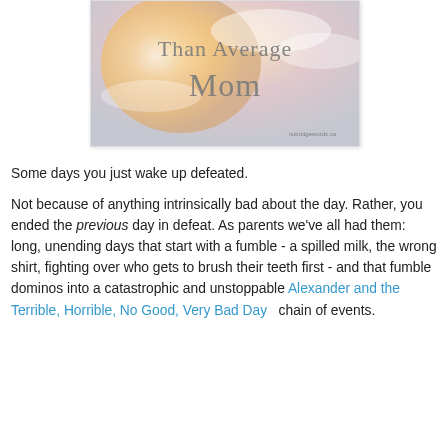[Figure (illustration): Blog image with warm orange and white sky background, text reading 'Than Average Mom' in gray serif font, with small watermark text at the bottom right]
Some days you just wake up defeated.
Not because of anything intrinsically bad about the day. Rather, you ended the previous day in defeat. As parents we've all had them: long, unending days that start with a fumble - a spilled milk, the wrong shirt, fighting over who gets to brush their teeth first - and that fumble dominos into a catastrophic and unstoppable Alexander and the Terrible, Horrible, No Good, Very Bad Day   chain of events.